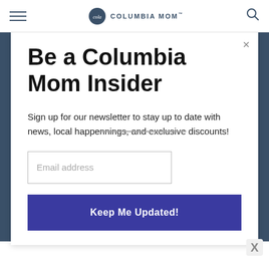COLUMBIA MOM
Be a Columbia Mom Insider
Sign up for our newsletter to stay up to date with news, local happenings, and exclusive discounts!
Email address
Keep Me Updated!